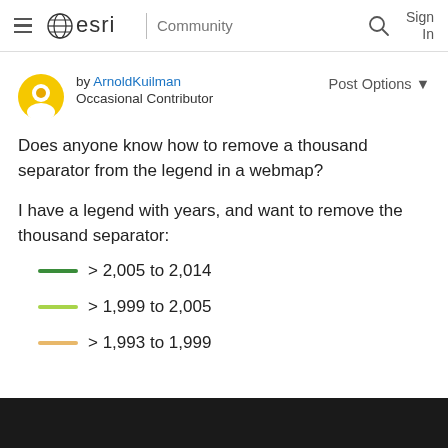esri Community | Sign In
by ArnoldKuilman
Occasional Contributor
Post Options ▼
Does anyone know how to remove a thousand separator from the legend in a webmap?
I have a legend with years, and want to remove the thousand separator:
> 2,005 to 2,014
> 1,999 to 2,005
> 1,993 to 1,999